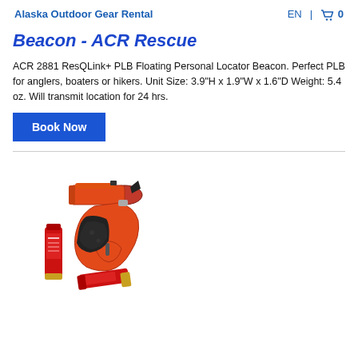Alaska Outdoor Gear Rental   EN  🛒 0
Beacon - ACR Rescue
ACR 2881 ResQLink+ PLB Floating Personal Locator Beacon. Perfect PLB for anglers, boaters or hikers. Unit Size: 3.9"H x 1.9"W x 1.6"D Weight: 5.4 oz. Will transmit location for 24 hrs.
[Figure (photo): Orange flare gun / signal pistol with black grip and two red shotgun-style signal flare cartridges beside it]
Book Now (button)